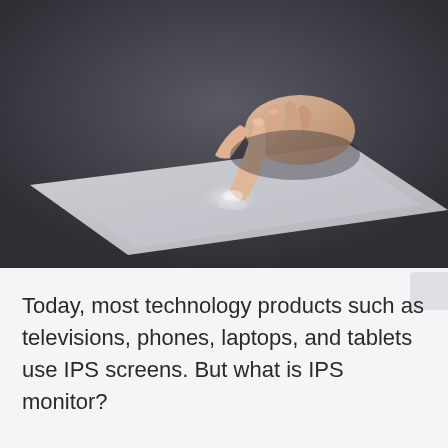[Figure (photo): A hand with one finger pointing downward touching the surface of a tablet device, set against a dark background. The tablet's screen glows faintly where the finger makes contact.]
Today, most technology products such as televisions, phones, laptops, and tablets use IPS screens. But what is IPS monitor?